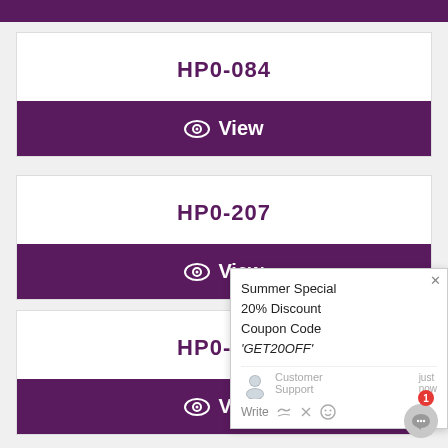[Figure (screenshot): Purple top navigation bar]
HP0-084
View
HP0-207
View
HP0-286
View
Summer Special 20% Discount Coupon Code 'GET20OFF'
Customer Support   just now
Write